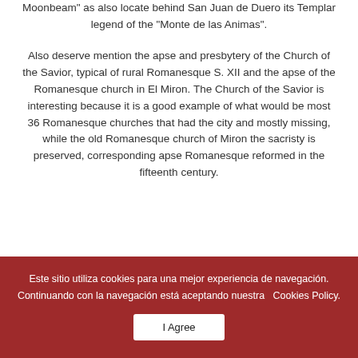Moonbeam" as also locate behind San Juan de Duero its Templar legend of the "Monte de las Animas".
Also deserve mention the apse and presbytery of the Church of the Savior, typical of rural Romanesque S. XII and the apse of the Romanesque church in El Miron. The Church of the Savior is interesting because it is a good example of what would be most 36 Romanesque churches that had the city and mostly missing, while the old Romanesque church of Miron the sacristy is preserved, corresponding apse Romanesque reformed in the fifteenth century.
Este sitio utiliza cookies para una mejor experiencia de navegación. Continuando con la navegación está aceptando nuestra  Cookies Policy.